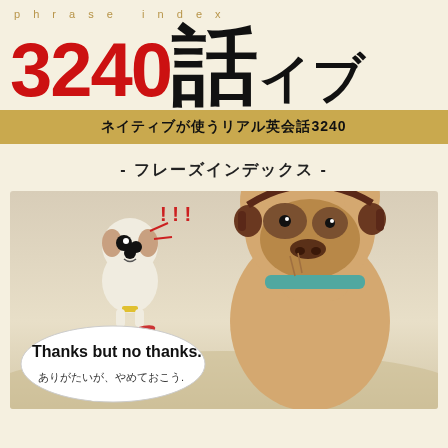phrase index
3240話イブ
ネイティブが使うリアル英会話3240
- フレーズインデックス -
[Figure (illustration): Cartoon illustration of two dogs on a beach. A small white dog looks surprised while a large French Bulldog (wearing headphones and a teal collar) ignores it. A speech bubble reads 'Thanks but no thanks.' with Japanese text 'ありがたいが、やめておこう.' below.]